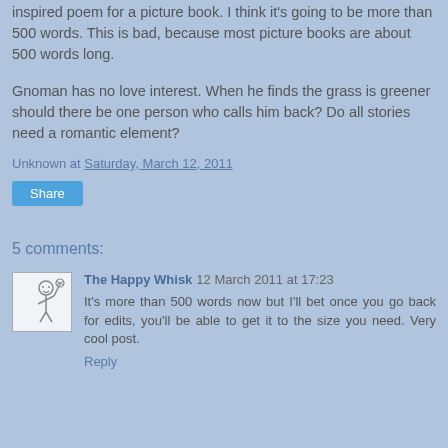inspired poem for a picture book. I think it's going to be more than 500 words. This is bad, because most picture books are about 500 words long.
Gnoman has no love interest. When he finds the grass is greener should there be one person who calls him back? Do all stories need a romantic element?
Unknown at Saturday, March 12, 2011
Share
5 comments:
The Happy Whisk 12 March 2011 at 17:23
It's more than 500 words now but I'll bet once you go back for edits, you'll be able to get it to the size you need. Very cool post.
Reply